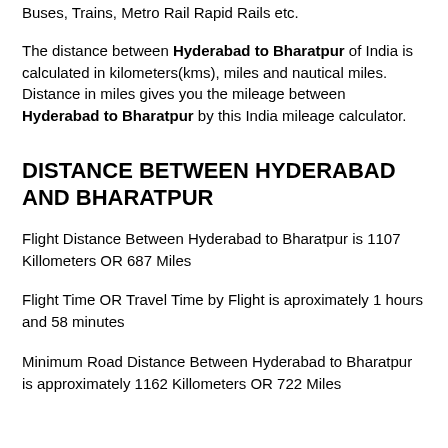Buses, Trains, Metro Rail Rapid Rails etc.
The distance between Hyderabad to Bharatpur of India is calculated in kilometers(kms), miles and nautical miles. Distance in miles gives you the mileage between Hyderabad to Bharatpur by this India mileage calculator.
DISTANCE BETWEEN HYDERABAD AND BHARATPUR
Flight Distance Between Hyderabad to Bharatpur is 1107 Killometers OR 687 Miles
Flight Time OR Travel Time by Flight is aproximately 1 hours and 58 minutes
Minimum Road Distance Between Hyderabad to Bharatpur is approximately 1162 Killometers OR 722 Miles